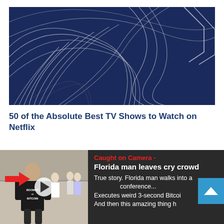[Figure (photo): Abstract long-exposure light trails photograph on dark blue background — swirling white and grey curved lines creating circular and crossing patterns]
50 of the Absolute Best TV Shows to Watch on Netflix
[Figure (screenshot): Video thumbnail showing a bald man in a black t-shirt reading 'BOOMER vs BITCOIN' in an airport or convention center, with a red arrow pointing at him and a play button overlay. Beside it: red text 'Caught on Camera -', bold white text 'Florida man leaves crowd', body text 'True story. Florida man walks into a conference... Executes weird 3-second Bitcoin... And then this amazing thing h...'. A blue scroll-up button overlays the right side.]